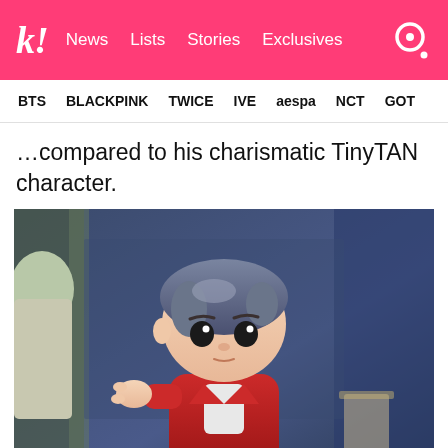k! | News | Lists | Stories | Exclusives
BTS | BLACKPINK | TWICE | IVE | aespa | NCT | GOT7
…compared to his charismatic TinyTAN character.
[Figure (photo): 3D animated chibi-style TinyTAN character with dark blue-gray hair wearing a red jacket, reaching out with one hand. Another character with light green hair is partially visible on the left side.]
| BANGTANTV/YouTube